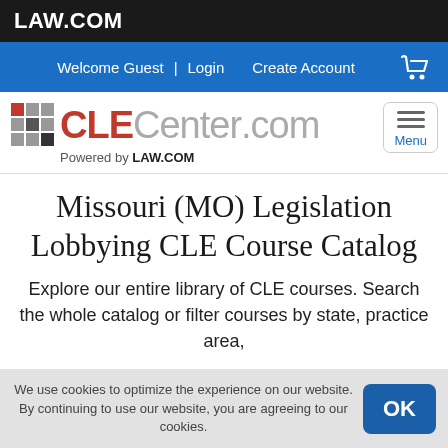LAW.COM
Welcome Guest | Login  Create Account
[Figure (logo): CLECenter.com logo with grid icon and 'Powered by LAW.COM' tagline, plus hamburger menu button labeled Menu]
Missouri (MO) Legislation Lobbying CLE Course Catalog
Explore our entire library of CLE courses. Search the whole catalog or filter courses by state, practice area,
We use cookies to optimize the experience on our website. By continuing to use our website, you are agreeing to our use of cookies.